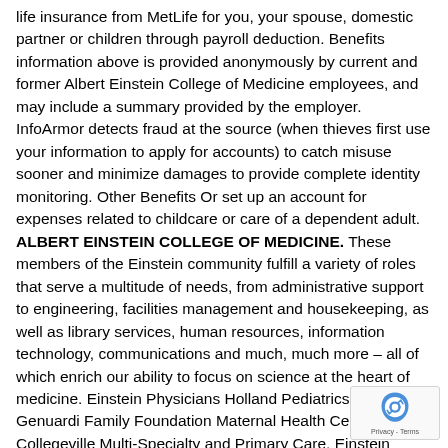life insurance from MetLife for you, your spouse, domestic partner or children through payroll deduction. Benefits information above is provided anonymously by current and former Albert Einstein College of Medicine employees, and may include a summary provided by the employer. InfoArmor detects fraud at the source (when thieves first use your information to apply for accounts) to catch misuse sooner and minimize damages to provide complete identity monitoring. Other Benefits Or set up an account for expenses related to childcare or care of a dependent adult. ALBERT EINSTEIN COLLEGE OF MEDICINE. These members of the Einstein community fulfill a variety of roles that serve a multitude of needs, from administrative support to engineering, facilities management and housekeeping, as well as library services, human resources, information technology, communications and much, much more – all of which enrich our ability to focus on science at the heart of medicine. Einstein Physicians Holland Pediatrics - Dresher, Genuardi Family Foundation Maternal Health Center, Collegeville Multi-Specialty and Primary Care, Einstein Physicians Women's Associates for Healthcare, Pediatric and Adolescent Ambulatory Center, Einstein Physicians Holland Pediatrics - Bustleton, Einstein Physicians Holland Pediatrics - Frankford, Einstein Pediatrics Specia Levy Building, Einstein Healthcare Network King of Prus Einstein Healthcare Network Plymouth Meeting, Einstein Center Montgomery Women's Center, Directory for Minerva D.